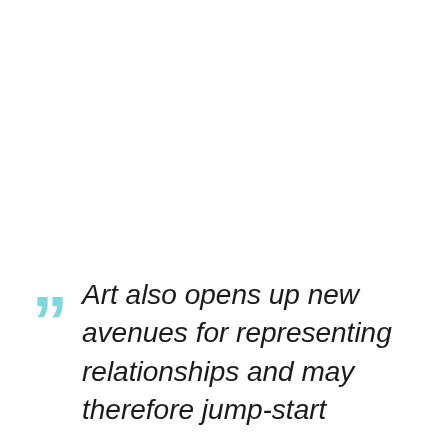Art also opens up new avenues for representing relationships and may therefore jump-start